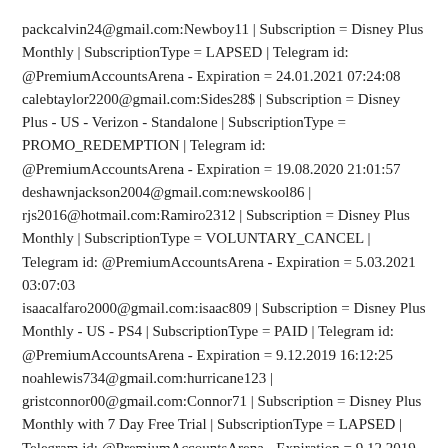packcalvin24@gmail.com:Newboy11 | Subscription = Disney Plus Monthly | SubscriptionType = LAPSED | Telegram id: @PremiumAccountsArena - Expiration = 24.01.2021 07:24:08
calebtaylor2200@gmail.com:Sides28$ | Subscription = Disney Plus - US - Verizon - Standalone | SubscriptionType = PROMO_REDEMPTION | Telegram id: @PremiumAccountsArena - Expiration = 19.08.2020 21:01:57
deshawnjackson2004@gmail.com:newskool86 |
rjs2016@hotmail.com:Ramiro2312 | Subscription = Disney Plus Monthly | SubscriptionType = VOLUNTARY_CANCEL | Telegram id: @PremiumAccountsArena - Expiration = 5.03.2021 03:07:03
isaacalfaro2000@gmail.com:isaac809 | Subscription = Disney Plus Monthly - US - PS4 | SubscriptionType = PAID | Telegram id: @PremiumAccountsArena - Expiration = 9.12.2019 16:12:25
noahlewis734@gmail.com:hurricane123 |
gristconnor00@gmail.com:Connor71 | Subscription = Disney Plus Monthly with 7 Day Free Trial | SubscriptionType = LAPSED | Telegram id: @PremiumAccountsArena - Expiration = 9.12.2019 09:25:17